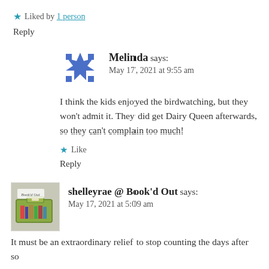★ Liked by 1 person
Reply
Melinda says: May 17, 2021 at 9:55 am
I think the kids enjoyed the birdwatching, but they won't admit it. They did get Dairy Queen afterwards, so they can't complain too much!
★ Like
Reply
shelleyrae @ Book'd Out says: May 17, 2021 at 5:09 am
It must be an extraordinary relief to stop counting the days after so